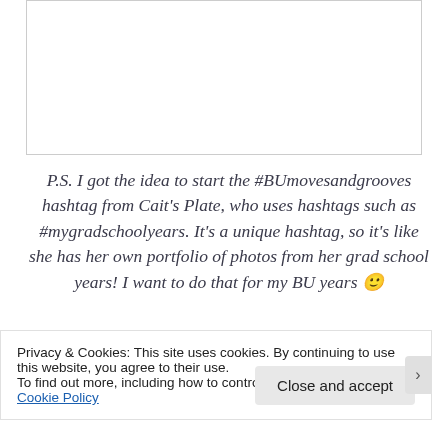[Figure (photo): White empty image box with a thin gray border]
P.S. I got the idea to start the #BUmovesandgrooves hashtag from Cait's Plate, who uses hashtags such as #mygradschoolyears. It's a unique hashtag, so it's like she has her own portfolio of photos from her grad school years! I want to do that for my BU years 🙂
Privacy & Cookies: This site uses cookies. By continuing to use this website, you agree to their use.
To find out more, including how to control cookies, see here: Cookie Policy
Close and accept